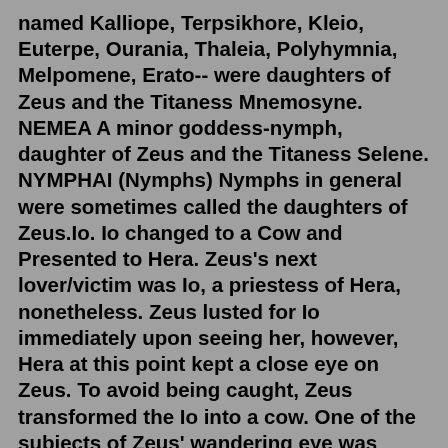named Kalliope, Terpsikhore, Kleio, Euterpe, Ourania, Thaleia, Polyhymnia, Melpomene, Erato-- were daughters of Zeus and the Titaness Mnemosyne. NEMEA A minor goddess-nymph, daughter of Zeus and the Titaness Selene. NYMPHAI (Nymphs) Nymphs in general were sometimes called the daughters of Zeus.Io. Io changed to a Cow and Presented to Hera. Zeus's next lover/victim was Io, a priestess of Hera, nonetheless. Zeus lusted for Io immediately upon seeing her, however, Hera at this point kept a close eye on Zeus. To avoid being caught, Zeus transformed the Io into a cow. One of the subjects of Zeus' wandering eye was Danae, a princess of Argos on the Peloponnesian peninsula. Danae was the only child of Acrisius and Eurydice, the ruling couple of Argos, and as she grew up, Danae gained a reputation of being the most beautiful female mortal of the age. Being Acrisius' only child though caused the king a ... Greek Champions who promised to lay life for goddess Demeter in Mortal Arena Demeter's life story is also dealing with the...